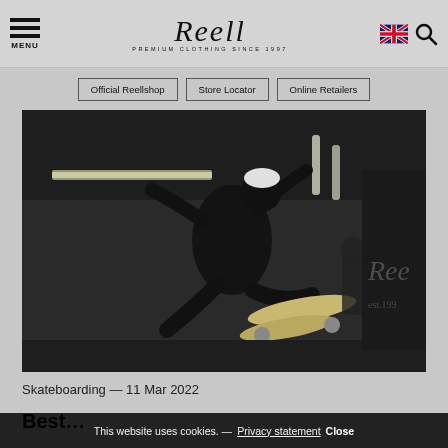MENU | Reell PREMIUM CLOTHING SINCE 1997
Official Reellshop | Store Locator | Online Retailers
[Figure (photo): Skateboarder performing a trick in a dark indoor skate space with Reell branding visible on the right wall.]
Skateboarding — 11 Mar 2022
This website uses cookies. — Privacy statement Close